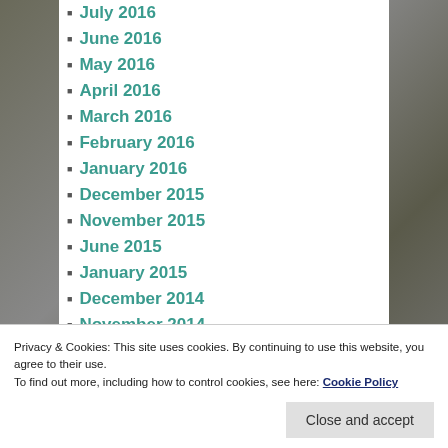July 2016
June 2016
May 2016
April 2016
March 2016
February 2016
January 2016
December 2015
November 2015
June 2015
January 2015
December 2014
November 2014
October 2014
Privacy & Cookies: This site uses cookies. By continuing to use this website, you agree to their use.
To find out more, including how to control cookies, see here: Cookie Policy
Close and accept